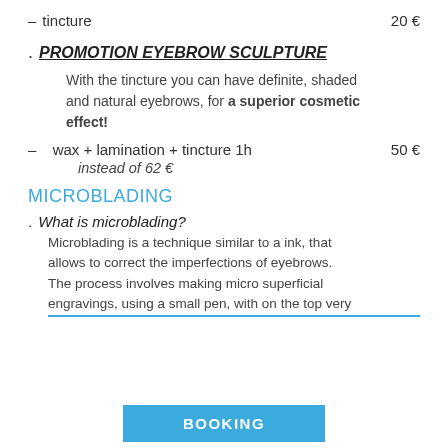– tincture   20 €
PROMOTION EYEBROW SCULPTURE
With the tincture you can have definite, shaded and natural eyebrows, for a superior cosmetic effect!
– wax + lamination + tincture 1h   50 €
instead of 62 €
MICROBLADING
What is microblading?
Microblading is a technique similar to a ink, that allows to correct the imperfections of eyebrows. The process involves making micro superficial engravings, using a small pen, with on the top very